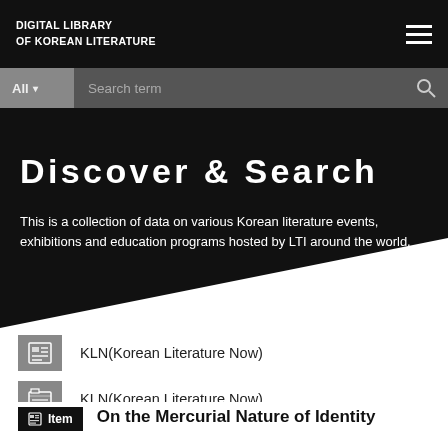DIGITAL LIBRARY OF KOREAN LITERATURE
Search term
Discover & Search
This is a collection of data on various Korean literature events, exhibitions and education programs hosted by LTI around the world.
KLN(Korean Literature Now)
KLN(Korean Literature Now)
KLN(Korean Literature Now) Vol.49
Item  On the Mercurial Nature of Identity